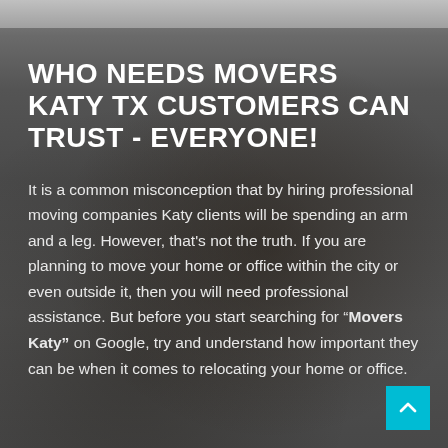WHO NEEDS MOVERS KATY TX CUSTOMERS CAN TRUST - EVERYONE!
It is a common misconception that by hiring professional moving companies Katy clients will be spending an arm and a leg. However, that's not the truth. If you are planning to move your home or office within the city or even outside it, then you will need professional assistance. But before you start searching for "Movers Katy" on Google, try and understand how important they can be when it comes to relocating your home or office.